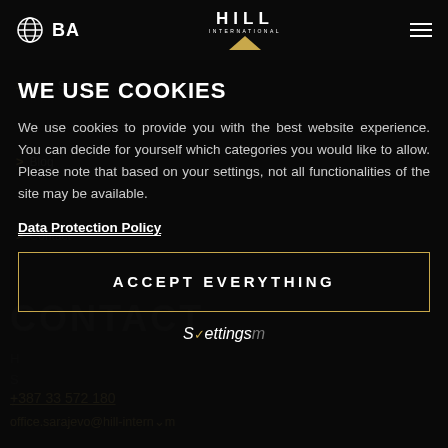BA | HILL INTERNATIONAL
> HILL Services
WE USE COOKIES
> Blog
We use cookies to provide you with the best website experience. You can decide for yourself which categories you would like to allow. Please note that based on your settings, not all functionalities of the site may be available.
> Contact
Data Protection Policy
ACCEPT EVERYTHING
CONTACT
H
S
7
+387 33 572 180
office.sarajevo@hill-Internm
Settings